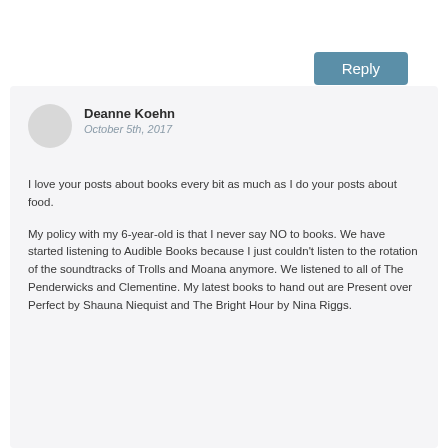Reply
Deanne Koehn
October 5th, 2017
I love your posts about books every bit as much as I do your posts about food.
My policy with my 6-year-old is that I never say NO to books. We have started listening to Audible Books because I just couldn't listen to the rotation of the soundtracks of Trolls and Moana anymore. We listened to all of The Penderwicks and Clementine. My latest books to hand out are Present over Perfect by Shauna Niequist and The Bright Hour by Nina Riggs.